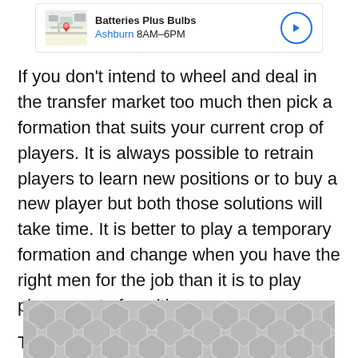[Figure (screenshot): Google Maps ad banner showing Batteries Plus Bulbs location in Ashburn, 8AM-6PM, with map thumbnail and navigation arrow button]
If you don't intend to wheel and deal in the transfer market too much then pick a formation that suits your current crop of players. It is always possible to retrain players to learn new positions or to buy a new player but both those solutions will take time. It is better to play a temporary formation and change when you have the right men for the job than it is to play players out of position.
The quickest way to select a new formation
[Figure (illustration): Gray geometric hexagonal/diamond pattern banner advertisement at the bottom of the page]